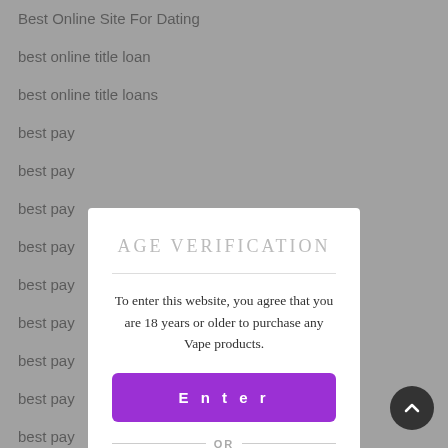Best Online Site For Dating
best online title loan
best online title loans
best pay
best pay
best pay
best pay
best pay
best pay
best pay
best pay
best pay
best pay
AGE VERIFICATION
To enter this website, you agree that you are 18 years or older to purchase any Vape products.
Enter
OR
Exit